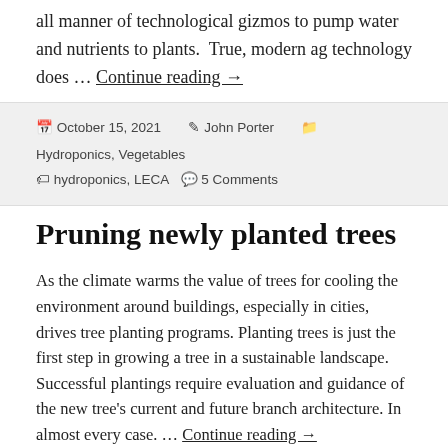all manner of technological gizmos to pump water and nutrients to plants.  True, modern ag technology does … Continue reading →
October 15, 2021  John Porter  Hydroponics, Vegetables  hydroponics, LECA  5 Comments
Pruning newly planted trees
As the climate warms the value of trees for cooling the environment around buildings, especially in cities, drives tree planting programs. Planting trees is just the first step in growing a tree in a sustainable landscape. Successful plantings require evaluation and guidance of the new tree's current and future branch architecture. In almost every case. … Continue reading →